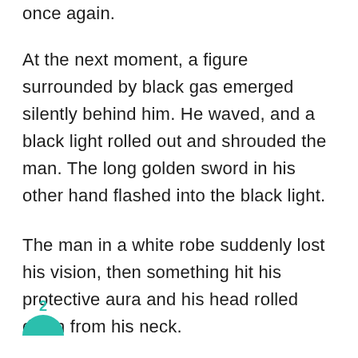once again.
At the next moment, a figure surrounded by black gas emerged silently behind him. He waved, and a black light rolled out and shrouded the man. The long golden sword in his other hand flashed into the black light.
The man in a white robe suddenly lost his vision, then something hit his protective aura and his head rolled down from his neck.
[Figure (other): A teal/green circular badge or avatar icon partially visible at the bottom left, with the number 2 above it]